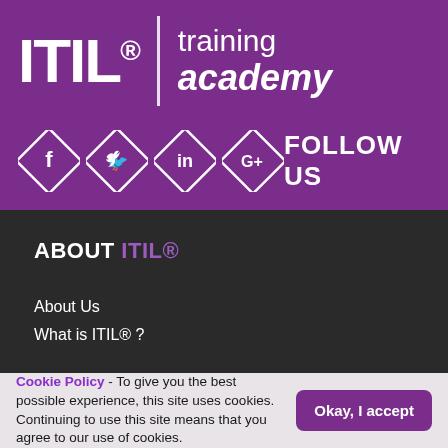[Figure (logo): ITIL® training academy logo with purple background, white bold ITIL® text, vertical divider, and 'training academy' text in italic bold]
[Figure (infographic): Social media follow icons in diamond shapes: Facebook (f), Twitter (bird), LinkedIn (in), Google+ (G+) with FOLLOW US text on purple background]
ABOUT ITIL®
About Us
What is ITIL® ?
Cookie Policy - To give you the best possible experience, this site uses cookies. Continuing to use this site means that you agree to our use of cookies.